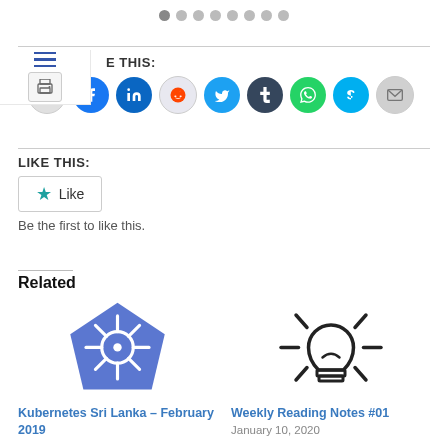[Figure (other): Pagination dots row at top, one dark dot followed by several gray dots]
SHARE THIS:
[Figure (other): Row of social media share icons: print, Facebook, LinkedIn, Reddit, Twitter, Tumblr, WhatsApp, Skype, Email]
LIKE THIS:
[Figure (other): Like button with star icon and text 'Like']
Be the first to like this.
Related
[Figure (illustration): Kubernetes logo - blue ship wheel on blue pentagon background]
Kubernetes Sri Lanka – February 2019
[Figure (illustration): Light bulb icon outline drawing]
Weekly Reading Notes #01
January 10, 2020